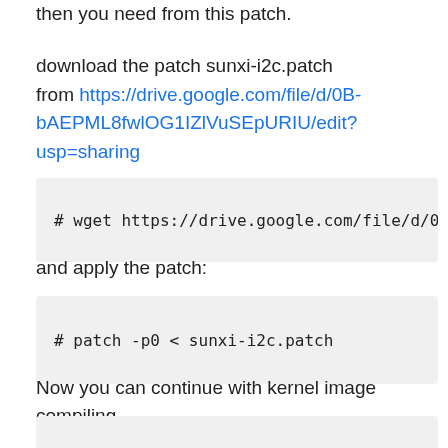then you need from this patch.
download the patch sunxi-i2c.patch from https://drive.google.com/file/d/0B-bAEPML8fwlOG1IZlVuSEpURIU/edit?usp=sharing
# wget https://drive.google.com/file/d/0B
and apply the patch:
# patch -p0 < sunxi-i2c.patch
Now you can continue with kernel image compiling
# make ARCH=arm CROSS_COMPILE=arm-linux-g
when this finish's you will have uImage ready and the